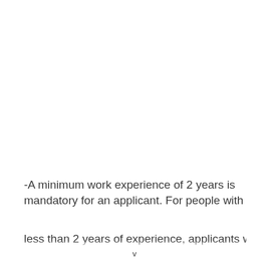-A minimum work experience of 2 years is mandatory for an applicant. For people with less than 2 years of experience, applicants with...
v